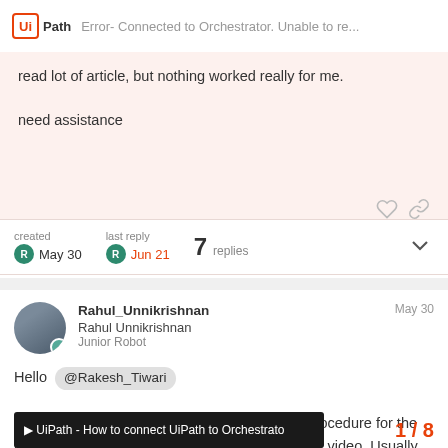UiPath | Error- Connected to Orchestrator. Unable to re...
read lot of article, but nothing worked really for me.

need assistance
created May 30   last reply Jun 21   7 replies
Rahul_Unnikrishnan
Rahul Unnikrishnan
Junior Robot
May 30
Hello @Rakesh_Tiwari

Could you confirm you have done the correct procedure for the license activation. Else you can watch the below video. Usually there wont be any error if have the internet access...
[Figure (screenshot): Video thumbnail showing 'UiPath - How to connect UiPath to Orchestrato']
1 / 8